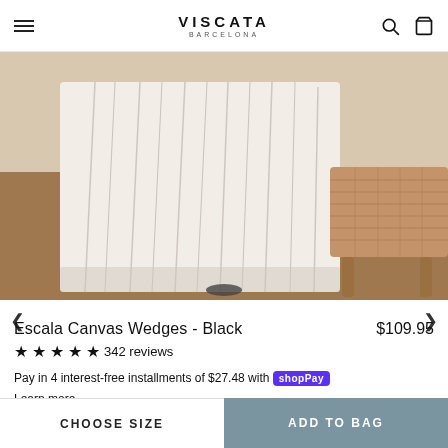VISCATA BARCELONA
[Figure (photo): Product photo of Escala Canvas Wedges in Black colorway, showing a white pleated/ruffled fabric item draped near a wicker basket furniture piece with wooden legs, on a brown surface.]
Escala Canvas Wedges - Black $109.95
★★★★★ 342 reviews
Pay in 4 interest-free installments of $27.48 with Shop Pay
Learn more